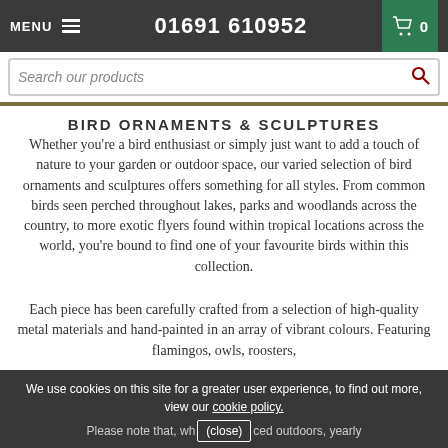MENU  01691 610952  [cart] 0
Search our products
BIRD ORNAMENTS & SCULPTURES
Whether you’re a bird enthusiast or simply just want to add a touch of nature to your garden or outdoor space, our varied selection of bird ornaments and sculptures offers something for all styles. From common birds seen perched throughout lakes, parks and woodlands across the country, to more exotic flyers found within tropical locations across the world, you’re bound to find one of your favourite birds within this collection.
Each piece has been carefully crafted from a selection of high-quality metal materials and hand-painted in an array of vibrant colours. Featuring flamingos, owls, roosters,
We use cookies on this site for a greater user experience, to find out more, view our cookie policy.
Please note that, wh(close)ced outdoors, yearly